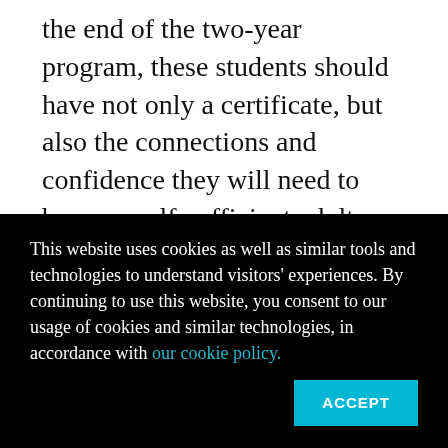the end of the two-year program, these students should have not only a certificate, but also the connections and confidence they will need to become self-sufficient adults.

Results so far are encouraging. Close to two-thirds of students who completed one of 25 federally funded programs between 2015 and 2017 found paid work within a year, according to a recent survey. Ninety percent of Utah
This website uses cookies as well as similar tools and technologies to understand visitors' experiences. By continuing to use this website, you consent to our usage of cookies and similar technologies, in accordance with our cookie policy.